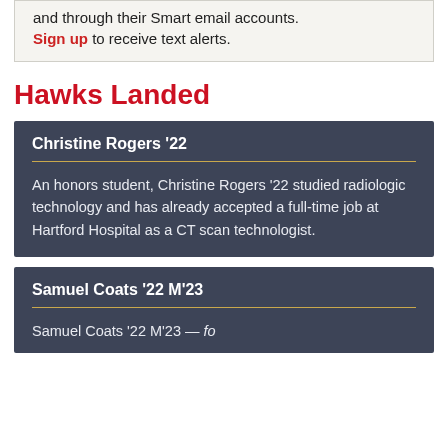and through their Smart email accounts. Sign up to receive text alerts.
Hawks Landed
Christine Rogers '22
An honors student, Christine Rogers '22 studied radiologic technology and has already accepted a full-time job at Hartford Hospital as a CT scan technologist.
Samuel Coats '22 M'23
Samuel Coats '22 M'23 — [text continues below]